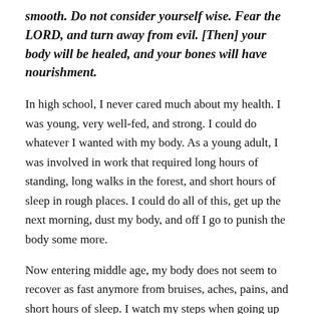smooth. Do not consider yourself wise. Fear the LORD, and turn away from evil. [Then] your body will be healed, and your bones will have nourishment.
In high school, I never cared much about my health. I was young, very well-fed, and strong. I could do whatever I wanted with my body. As a young adult, I was involved in work that required long hours of standing, long walks in the forest, and short hours of sleep in rough places. I could do all of this, get up the next morning, dust my body, and off I go to punish the body some more.
Now entering middle age, my body does not seem to recover as fast anymore from bruises, aches, pains, and short hours of sleep. I watch my steps when going up